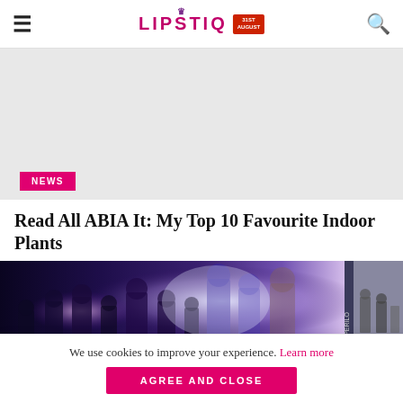LIPSTIQ — Navigation header with hamburger menu, logo, and search icon
[Figure (photo): Light gray placeholder image area with a hot pink NEWS badge in the lower left corner]
Read All ABIA It: My Top 10 Favourite Indoor Plants
[Figure (photo): Movie promotional image — Avengers-style ensemble cast poster with purple/blue cosmic light effects, heroes in action poses; smaller TV show image visible on the right edge]
We use cookies to improve your experience. Learn more
AGREE AND CLOSE